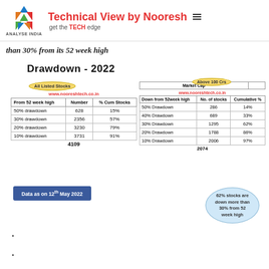Technical View by Nooresh — get the TECH edge | ANALYSE INDIA
than 30% from its 52 week high
Drawdown - 2022
| From 52 week high | Number | % Cum Stocks |
| --- | --- | --- |
| 50% drawdown | 628 | 15% |
| 30% drawdown | 2356 | 57% |
| 20% drawdown | 3230 | 79% |
| 10% drawdown | 3731 | 91% |
| Down from 52week high | No. of stocks | Cumulative % |
| --- | --- | --- |
| 50% Drawdown | 286 | 14% |
| 40% Drawdown | 689 | 33% |
| 30% Drawdown | 1295 | 62% |
| 20% Drawdown | 1788 | 86% |
| 10% Drawdown | 2006 | 97% |
Data as on 12th May 2022
62% stocks are down more than 30% from 52 week high